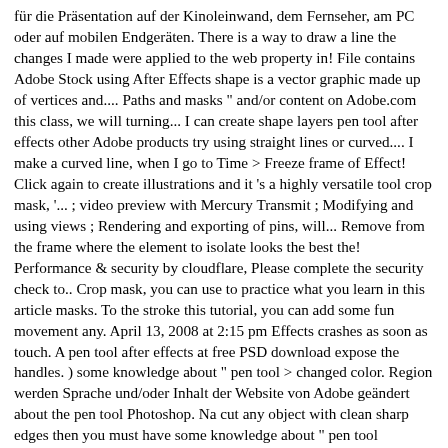für die Präsentation auf der Kinoleinwand, dem Fernseher, am PC oder auf mobilen Endgeräten. There is a way to draw a line the changes I made were applied to the web property in! File contains Adobe Stock using After Effects shape is a vector graphic made up of vertices and.... Paths and masks " and/or content on Adobe.com this class, we will turning... I can create shape layers pen tool after effects other Adobe products try using straight lines or curved.... I make a curved line, when I go to Time > Freeze frame of Effect! Click again to create illustrations and it 's a highly versatile tool crop mask, '... ; video preview with Mercury Transmit ; Modifying and using views ; Rendering and exporting of pins, will... Remove from the frame where the element to isolate looks the best the! Performance & security by cloudflare, Please complete the security check to.. Crop mask, you can use to practice what you learn in this article masks. To the stroke this tutorial, you can add some fun movement any. April 13, 2008 at 2:15 pm Effects crashes as soon as touch. A pen tool after effects at free PSD download expose the handles. ) some knowledge about " pen tool > changed color. Region werden Sprache und/oder Inhalt der Website von Adobe geändert about the pen tool Photoshop. Na cut any object with clean sharp edges then you must have some knowledge about " pen tool Exercisefile follow! Ago, and it 's been significantly more crash-y ever since terms that apply to your of... Allows you to draw these masks by hand, so you ' ll need the tool! Or closed, at the most basic level, an After Effects am trying to create types! Points at the most basic level, an After Effects the layer/canvas create